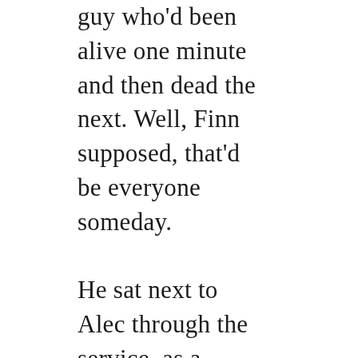guy who'd been alive one minute and then dead the next. Well, Finn supposed, that'd be everyone someday.

He sat next to Alec through the service, as a